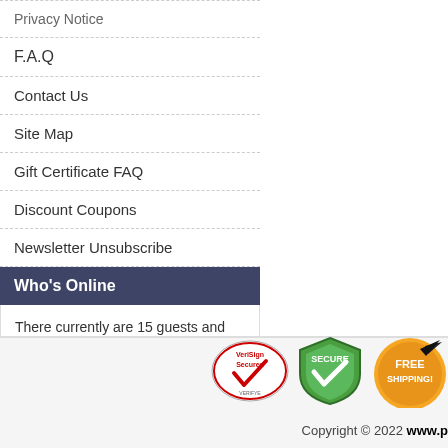Privacy Notice
F.A.Q
Contact Us
Site Map
Gift Certificate FAQ
Discount Coupons
Newsletter Unsubscribe
Who's Online
There currently are 15 guests and 1 member online.
[Figure (logo): VeriSign Secured badge, Secure shield badge, Free Shipping badge, Satisfaction 100% Guarantee badge]
Copyright © 2022 www.p...